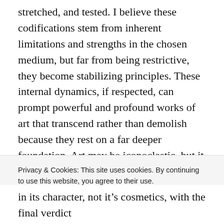stretched, and tested. I believe these codifications stem from inherent limitations and strengths in the chosen medium, but far from being restrictive, they become stabilizing principles. These internal dynamics, if respected, can prompt powerful and profound works of art that transcend rather than demolish because they rest on a far deeper foundation. Art may be iconoclastic, but it is by definition a creative, generative act. Not a destructive one.
Creativity is not static. Art must move forward, and the debate over the ‘rightness or wrongness’ of technique,
Privacy & Cookies: This site uses cookies. By continuing to use this website, you agree to their use.
To find out more, including how to control cookies, see here: Cookie Policy
in its character, not it’s cosmetics, with the final verdict